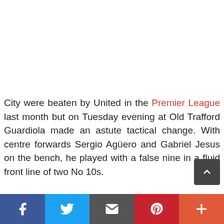City were beaten by United in the Premier League last month but on Tuesday evening at Old Trafford Guardiola made an astute tactical change. With centre forwards Sergio Agüero and Gabriel Jesus on the bench, he played with a false nine in a fluid front line of two No 10s.
Social share bar: Facebook, Twitter, Email, Pinterest, More